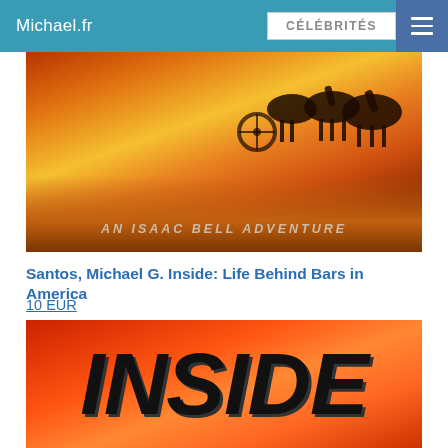Michael.fr | CÉLÉBRITÉS
[Figure (photo): Book cover image: An Isaac Bell Adventure — horses and carriage silhouetted against fiery orange and red background with text 'AN ISAAC BELL ADVENTURE']
Santos, Michael G. Inside: Life Behind Bars in America
10 EUR
[Figure (photo): Book cover close-up showing large bold black italic text 'INSIDE' on a red-orange fiery background]